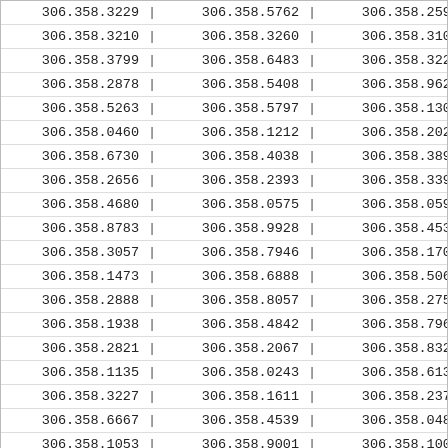| 306.358.3229 | 306.358.5762 | 306.358.2597 |
| 306.358.3210 | 306.358.3260 | 306.358.3100 |
| 306.358.3799 | 306.358.6483 | 306.358.3228 |
| 306.358.2878 | 306.358.5408 | 306.358.9623 |
| 306.358.5263 | 306.358.5797 | 306.358.1306 |
| 306.358.0460 | 306.358.1212 | 306.358.2029 |
| 306.358.6730 | 306.358.4038 | 306.358.3899 |
| 306.358.2656 | 306.358.2393 | 306.358.3394 |
| 306.358.4680 | 306.358.0575 | 306.358.0595 |
| 306.358.8783 | 306.358.9928 | 306.358.4533 |
| 306.358.3057 | 306.358.7946 | 306.358.1700 |
| 306.358.1473 | 306.358.6888 | 306.358.5067 |
| 306.358.2888 | 306.358.8057 | 306.358.2754 |
| 306.358.1938 | 306.358.4842 | 306.358.7966 |
| 306.358.2821 | 306.358.2067 | 306.358.8328 |
| 306.358.1135 | 306.358.0243 | 306.358.6132 |
| 306.358.3227 | 306.358.1611 | 306.358.2376 |
| 306.358.6667 | 306.358.4539 | 306.358.0487 |
| 306.358.1053 | 306.358.9001 | 306.358.1007 |